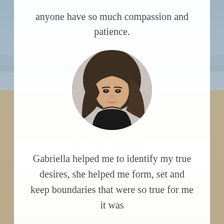anyone have so much compassion and patience.
[Figure (photo): Circular portrait photo of Kazumi Morton, a woman with long brown hair wearing a black top, photographed against a light gray background.]
KAZUMI MORTON
Gabriella helped me to identify my true desires, she helped me form, set and keep boundaries that were so true for me it was